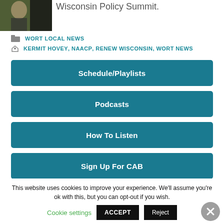[Figure (photo): Photo of a person, partially visible, dark tones]
Wisconsin Policy Summit.
WORT LOCAL NEWS
KERMIT HOVEY, NAACP, RENEW WISCONSIN, WORT NEWS
Schedule/Playlists
Podcasts
How To Listen
Sign Up For CAB
Summer Event Signup
This website uses cookies to improve your experience. We'll assume you're ok with this, but you can opt-out if you wish.
Cookie settings
ACCEPT
Reject